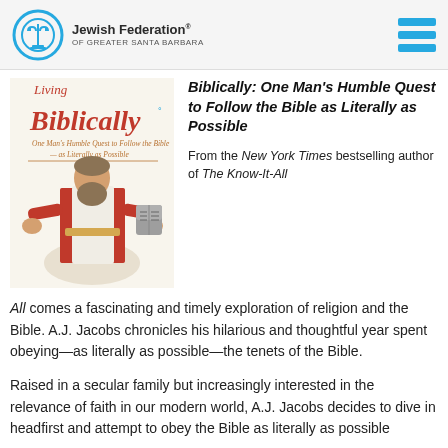Jewish Federation of Greater Santa Barbara
Biblically: One Man's Humble Quest to Follow the Bible as Literally as Possible
[Figure (illustration): Book cover of 'The Year of Living Biblically' showing a man dressed in biblical robes with a beard, holding stone tablets, with red and white striped robe. Title text on cover reads: 'Biblically, One Man's Humble Quest to Follow the Bible as Literally as Possible']
From the New York Times bestselling author of The Know-It-All comes a fascinating and timely exploration of religion and the Bible. A.J. Jacobs chronicles his hilarious and thoughtful year spent obeying—as literally as possible—the tenets of the Bible.
Raised in a secular family but increasingly interested in the relevance of faith in our modern world, A.J. Jacobs decides to dive in headfirst and attempt to obey the Bible as literally as possible